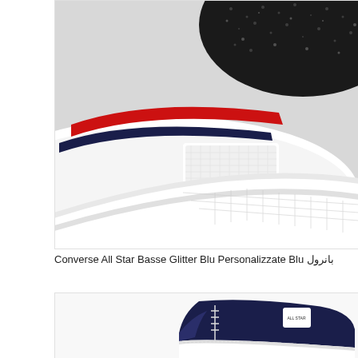[Figure (photo): Close-up photo of a Converse All Star sneaker sole and heel area. White rubber sole with diamond-tread pattern, black glitter upper fabric visible at top, red and navy blue accent stripes on the midsole. Light gray background.]
Converse All Star Basse Glitter Blu Personalizzate Blu بانرول
[Figure (photo): Partial photo of a dark navy blue Converse All Star low-top sneaker, showing the side and toe area. White sole visible, shoe has small white details and text on the ankle area.]